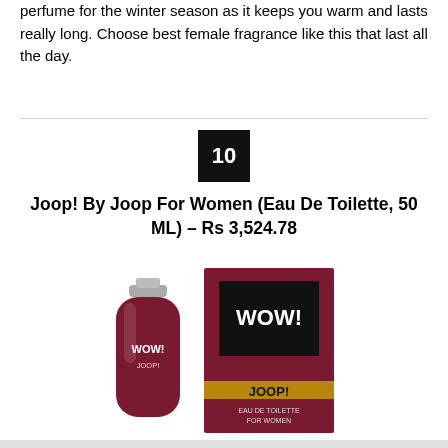perfume for the winter season as it keeps you warm and lasts really long. Choose best female fragrance like this that last all the day.
10
Joop! By Joop For Women (Eau De Toilette, 50 ML) – Rs 3,524.78
[Figure (photo): Product photo of Joop! WOW! Eau De Toilette for Women – a deep red/maroon perfume bottle alongside its matching box with gold accent band and black label reading WOW! JOOP!]